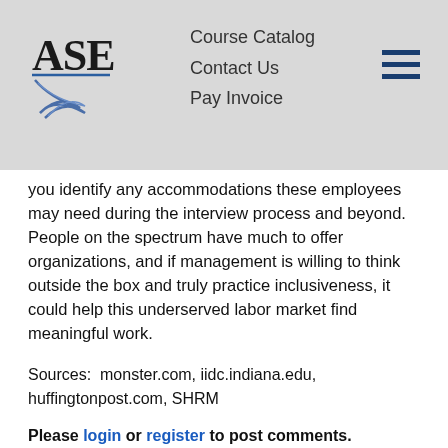Course Catalog  Contact Us  Pay Invoice
you identify any accommodations these employees may need during the interview process and beyond. People on the spectrum have much to offer organizations, and if management is willing to think outside the box and truly practice inclusiveness, it could help this underserved labor market find meaningful work.
Sources:  monster.com, iidc.indiana.edu, huffingtonpost.com, SHRM
Please login or register to post comments.